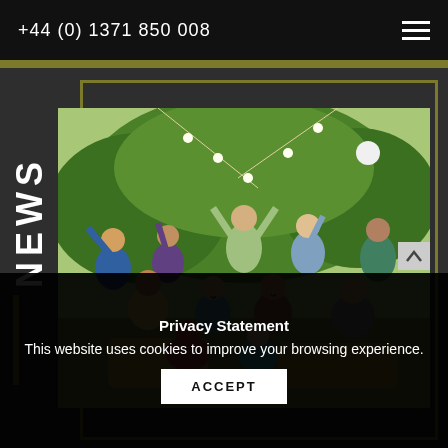+44 (0) 1371 850 008
NEWS
[Figure (photo): Group photo of approximately 14 people celebrating outdoors under a large tree, some raising their arms, some sitting on hay bales, with decorative lights hanging. Summer party scene.]
Privacy Statement
This website uses cookies to improve your browsing experience.
ACCEPT